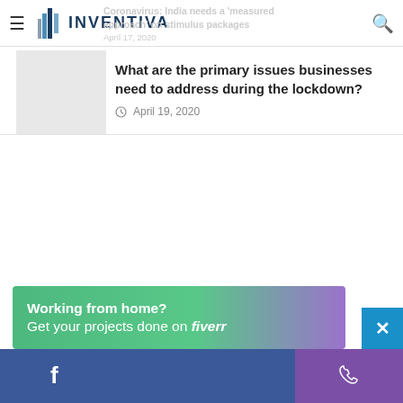INVENTIVA
What are the primary issues businesses need to address during the lockdown?
April 19, 2020
[Figure (infographic): Fiverr advertisement banner: Working from home? Get your projects done on fiverr]
Facebook and phone contact footer bar